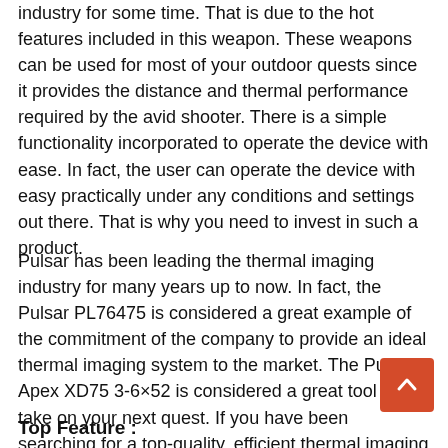industry for some time. That is due to the hot features included in this weapon. These weapons can be used for most of your outdoor quests since it provides the distance and thermal performance required by the avid shooter. There is a simple functionality incorporated to operate the device with ease. In fact, the user can operate the device with easy practically under any conditions and settings out there. That is why you need to invest in such a product.
Pulsar has been leading the thermal imaging industry for many years up to now. In fact, the Pulsar PL76475 is considered a great example of the commitment of the company to provide an ideal thermal imaging system to the market. The Pulsar Apex XD75 3-6×52 is considered a great tool to take on your next quest. If you have been searching for a top-quality, efficient thermal imaging tool on the market, your search stops here. That is why you need to buy the Pulsar PL76475 Thermal Weapon Sight right now.
Top Feature :